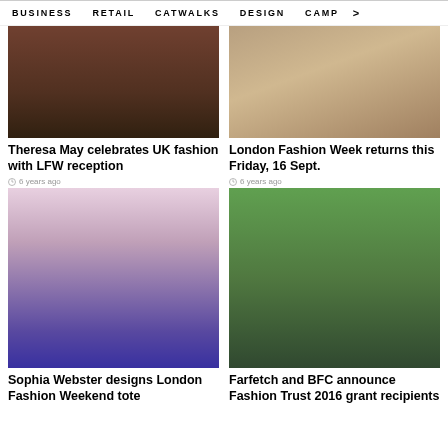BUSINESS  RETAIL  CATWALKS  DESIGN  CAMP  >
[Figure (photo): Photo showing legs and feet of people at a fashion event]
Theresa May celebrates UK fashion with LFW reception
6 years ago
[Figure (photo): Photo showing fashion week attendees in coats and clothing]
London Fashion Week returns this Friday, 16 Sept.
6 years ago
[Figure (photo): Photo of Sophia Webster holding a pink tote bag with peacock feather design]
Sophia Webster designs London Fashion Weekend tote
[Figure (photo): Group photo of Farfetch and BFC Fashion Trust 2016 grant recipients outdoors]
Farfetch and BFC announce Fashion Trust 2016 grant recipients